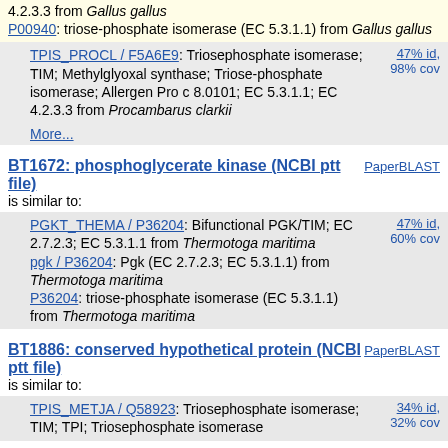4.2.3.3 from Gallus gallus
P00940: triose-phosphate isomerase (EC 5.3.1.1) from Gallus gallus
TPIS_PROCL / F5A6E9: Triosephosphate isomerase; TIM; Methylglyoxal synthase; Triose-phosphate isomerase; Allergen Pro c 8.0101; EC 5.3.1.1; EC 4.2.3.3 from Procambarus clarkii | 47% id, 98% cov
More...
BT1672: phosphoglycerate kinase (NCBI ptt file)
is similar to:
PGKT_THEMA / P36204: Bifunctional PGK/TIM; EC 2.7.2.3; EC 5.3.1.1 from Thermotoga maritima
pgk / P36204: Pgk (EC 2.7.2.3; EC 5.3.1.1) from Thermotoga maritima
P36204: triose-phosphate isomerase (EC 5.3.1.1) from Thermotoga maritima | 47% id, 60% cov
BT1886: conserved hypothetical protein (NCBI ptt file)
is similar to:
TPIS_METJA / Q58923: Triosephosphate isomerase; TIM; TPI; Triosephosphate isomerase | 34% id, 32% cov